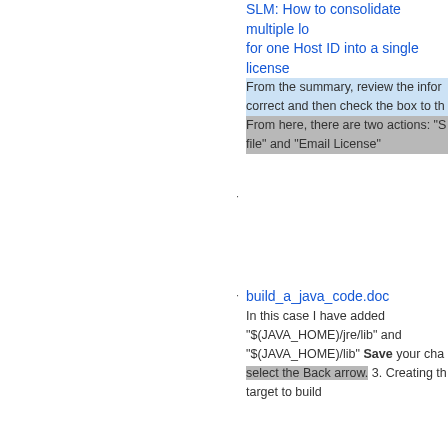SLM: How to consolidate multiple lic... for one Host ID into a single license From the summary, review the infor... correct and then check the box to th... From here, there are two actions: "S... file" and "Email License"
build_a_java_code.doc In this case I have added "$(JAVA_HOME)/jre/lib" and "$(JAVA_HOME)/lib" Save your cha... select the Back arrow. 3. Creating th... target to build
Microsoft Word - build_a_java_code... Save your changes and select the B... 3. Creating the Java target to build
KM-Build6: Remote Build Error - Sto... build due to compile or link error In the openmake user guide the libr... environement variable is not written... uppercase like Lib instead of LIB. Th... environement variables name must... all uppercase.